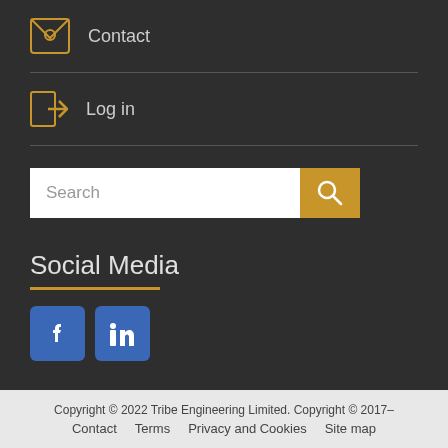Contact
Log in
[Figure (other): Search bar with text input field and orange search button with magnifying glass icon]
Social Media
[Figure (other): Social media icons: Facebook (blue square with f) and LinkedIn (blue square with in)]
Copyright © 2022 Tribe Engineering Limited. Copyright © 2017– Contact   Terms   Privacy and Cookies   Site map